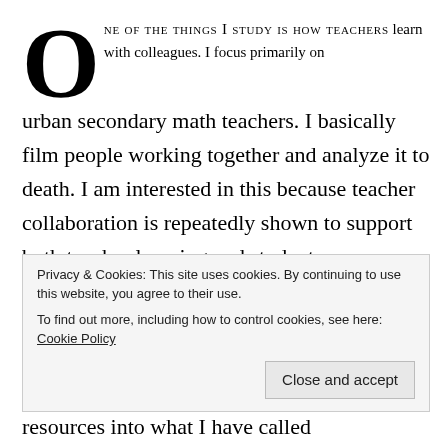ONE OF THE THINGS I STUDY IS HOW TEACHERS learn with colleagues. I focus primarily on urban secondary math teachers. I basically film people working together and analyze it to death. I am interested in this because teacher collaboration is repeatedly shown to support both teacher learning and student achievement, so I am curious about why.
First things first. Strong collaboration is very rare.
Privacy & Cookies: This site uses cookies. By continuing to use this website, you agree to their use. To find out more, including how to control cookies, see here: Cookie Policy
resources into what I have called collaborative